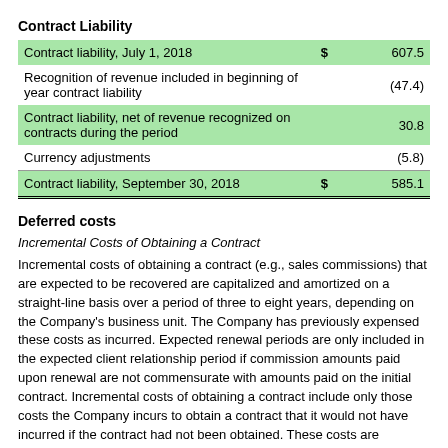Contract Liability
|  | $ |  |
| --- | --- | --- |
| Contract liability, July 1, 2018 | $ | 607.5 |
| Recognition of revenue included in beginning of year contract liability |  | (47.4) |
| Contract liability, net of revenue recognized on contracts during the period |  | 30.8 |
| Currency adjustments |  | (5.8) |
| Contract liability, September 30, 2018 | $ | 585.1 |
Deferred costs
Incremental Costs of Obtaining a Contract
Incremental costs of obtaining a contract (e.g., sales commissions) that are expected to be recovered are capitalized and amortized on a straight-line basis over a period of three to eight years, depending on the Company's business unit. The Company has previously expensed these costs as incurred. Expected renewal periods are only included in the expected client relationship period if commission amounts paid upon renewal are not commensurate with amounts paid on the initial contract. Incremental costs of obtaining a contract include only those costs the Company incurs to obtain a contract that it would not have incurred if the contract had not been obtained. These costs are included in selling, general and administrative expenses.
Costs to fulfill a Contract